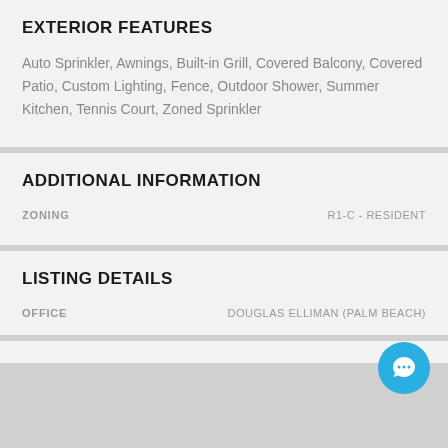EXTERIOR FEATURES
Auto Sprinkler, Awnings, Built-in Grill, Covered Balcony, Covered Patio, Custom Lighting, Fence, Outdoor Shower, Summer Kitchen, Tennis Court, Zoned Sprinkler
ADDITIONAL INFORMATION
ZONING  R1-C - RESIDENT
LISTING DETAILS
OFFICE  DOUGLAS ELLIMAN (PALM BEACH)